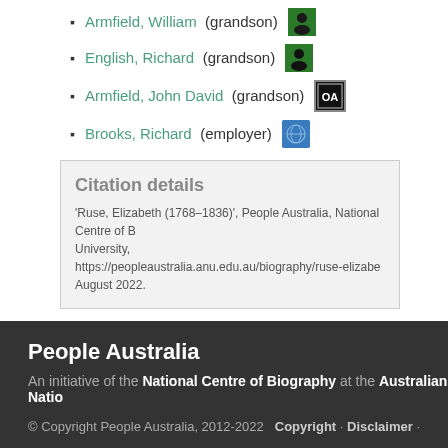Armfield, William (grandson)
English, Richard (grandson)
Armfield, John David (grandson)
Brooks, Richard (employer)
Citation details
'Ruse, Elizabeth (1768–1836)', People Australia, National Centre of Biography, Australian National University, https://peopleaustralia.anu.edu.au/biography/ruse-elizabe... August 2022.
People Australia
An initiative of the National Centre of Biography at the Australian National University
© Copyright People Australia, 2012-2022   Copyright · Disclaimer ·